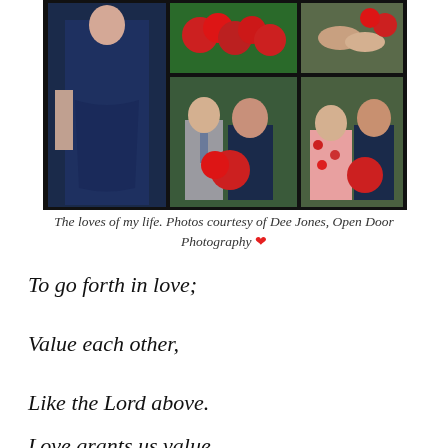[Figure (photo): Wedding photo collage showing people in navy blue formal attire with red rose bouquets. Multiple photos arranged in a grid: a woman in a navy dress, a man and woman posing together, close-up of red roses, and two women posing outdoors.]
The loves of my life. Photos courtesy of Dee Jones, Open Door Photography ❤
To go forth in love;
Value each other,
Like the Lord above.
Love grants us value,